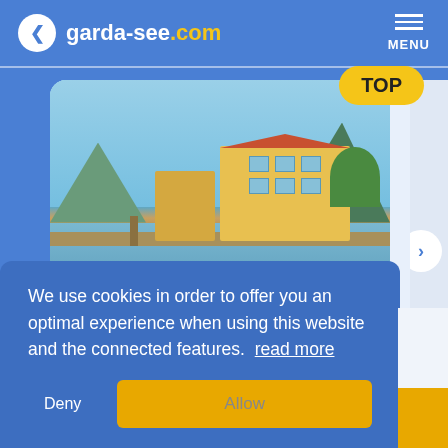garda-see.com  MENU
[Figure (photo): Hotel Brenzone on Lake Garda waterfront with yellow building, mountains in background, blue sky. TOP badge in upper right corner.]
We use cookies in order to offer you an optimal experience when using this website and the connected features.  read more
Deny
Allow